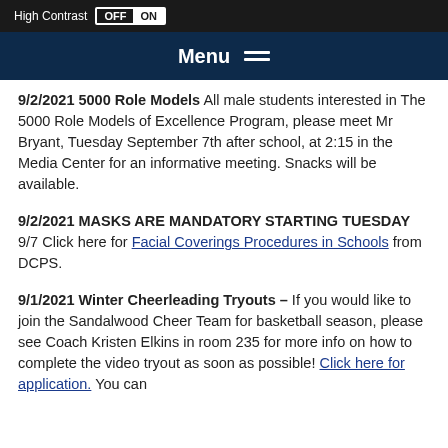High Contrast OFF ON
Menu
9/2/2021 5000 Role Models All male students interested in The 5000 Role Models of Excellence Program, please meet Mr Bryant, Tuesday September 7th after school, at 2:15 in the Media Center for an informative meeting. Snacks will be available.
9/2/2021 MASKS ARE MANDATORY STARTING TUESDAY 9/7 Click here for Facial Coverings Procedures in Schools from DCPS.
9/1/2021 Winter Cheerleading Tryouts – If you would like to join the Sandalwood Cheer Team for basketball season, please see Coach Kristen Elkins in room 235 for more info on how to complete the video tryout as soon as possible! Click here for application. You can